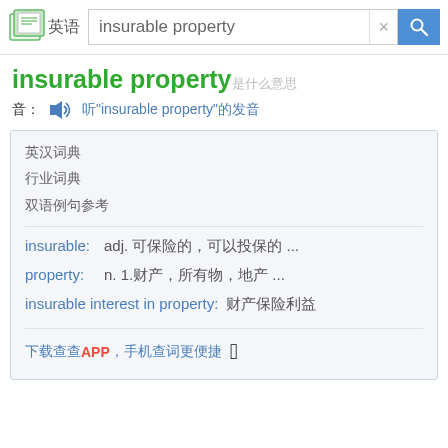[Figure (screenshot): Search bar with logo showing book icon and '英语' text, input field with 'insurable property', clear button, and blue search button with magnifier icon]
insurable property（保险标的）
音: 🔊 听"insurable property"的发音
英汉词典
行业词典
双语例句参考
insurable:   adj. 可保险的，可投保的 ...
property:   n. 1.财产，所有物，地产 ...
insurable interest in property:   财产保险利益
下载查查APP，手机查词更便捷 🍎